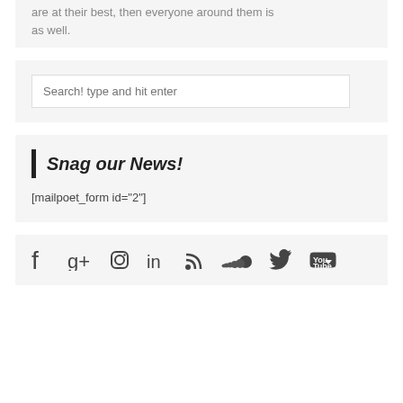are at their best, then everyone around them is as well.
Search! type and hit enter
Snag our News!
[mailpoet_form id="2"]
[Figure (infographic): Row of social media icons: Facebook, Google+, Instagram, LinkedIn, RSS, SoundCloud, Twitter, YouTube]